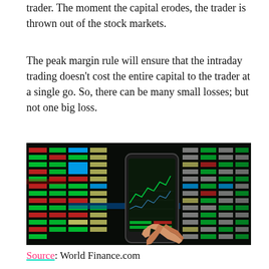trader. The moment the capital erodes, the trader is thrown out of the stock markets.
The peak margin rule will ensure that the intraday trading doesn’t cost the entire capital to the trader at a single go. So, there can be many small losses; but not one big loss.
[Figure (photo): A person holding a smartphone displaying stock trading charts and data, with a blurred stock market ticker board showing green, red, and blue numbers in the background.]
Source: World Finance.com